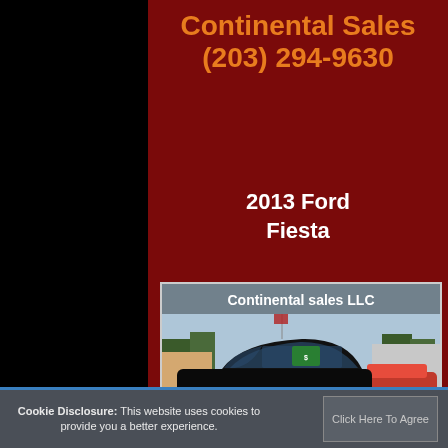Continental Sales
(203) 294-9630
2013 Ford Fiesta
[Figure (photo): Photo of a black 2013 Ford Fiesta sedan in a car dealership lot. A watermark overlay reads 'Continental sales LLC'. Other cars visible in background including a red car. Dealership flags visible.]
Cookie Disclosure: This website uses cookies to provide you a better experience.
Click Here To Agree